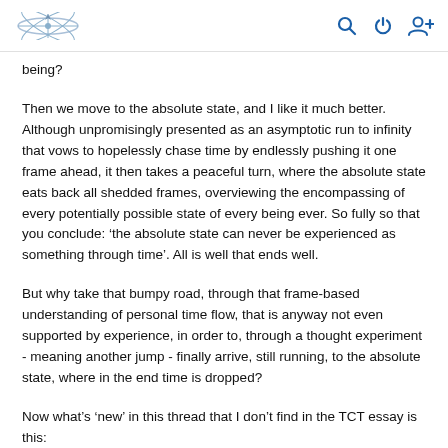[logo] [search icon] [power icon] [user-add icon]
being?
Then we move to the absolute state, and I like it much better. Although unpromisingly presented as an asymptotic run to infinity that vows to hopelessly chase time by endlessly pushing it one frame ahead, it then takes a peaceful turn, where the absolute state eats back all shedded frames, overviewing the encompassing of every potentially possible state of every being ever. So fully so that you conclude: 'the absolute state can never be experienced as something through time'. All is well that ends well.
But why take that bumpy road, through that frame-based understanding of personal time flow, that is anyway not even supported by experience, in order to, through a thought experiment - meaning another jump - finally arrive, still running, to the absolute state, where in the end time is dropped?
Now what's 'new' in this thread that I don't find in the TCT essay is this: